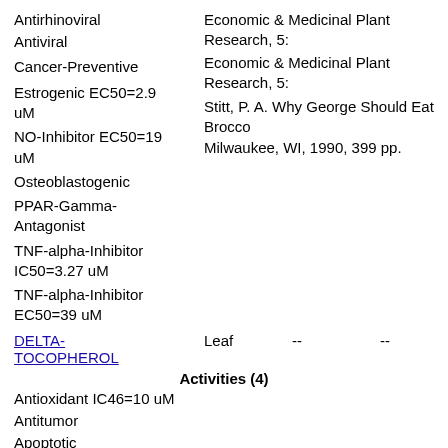Antirhinoviral
Economic & Medicinal Plant Research, 5:
Antiviral
Economic & Medicinal Plant Research, 5:
Cancer-Preventive
Stitt, P. A. Why George Should Eat Broccoli. Milwaukee, WI, 1990, 399 pp.
Estrogenic EC50=2.9 uM
NO-Inhibitor EC50=19 uM
Osteoblastogenic
PPAR-Gamma-Antagonist
TNF-alpha-Inhibitor IC50=3.27 uM
TNF-alpha-Inhibitor EC50=39 uM
DELTA-TOCOPHEROL   Leaf   --   --
Activities (4)
Antioxidant IC46=10 uM
Antitumor
Apoptotic
Hypercholesterolemic